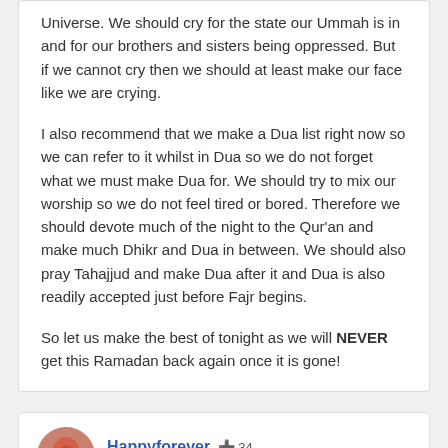Universe. We should cry for the state our Ummah is in and for our brothers and sisters being oppressed. But if we cannot cry then we should at least make our face like we are crying.
I also recommend that we make a Dua list right now so we can refer to it whilst in Dua so we do not forget what we must make Dua for. We should try to mix our worship so we do not feel tired or bored. Therefore we should devote much of the night to the Qur'an and make much Dhikr and Dua in between. We should also pray Tahajjud and make Dua after it and Dua is also readily accepted just before Fajr begins.
So let us make the best of tonight as we will NEVER get this Ramadan back again once it is gone!
Happyforever  34
Posted August 13, 2012